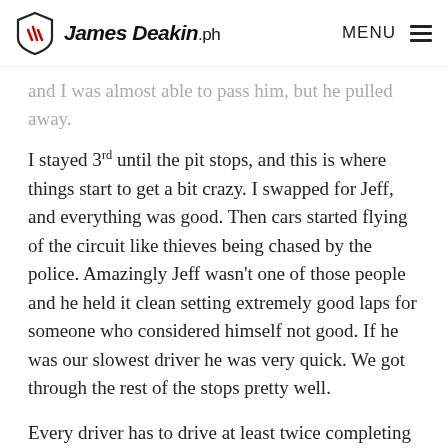JamesDeakin.ph | MENU
and I was almost able to pass him, but he pulled away.
I stayed 3rd until the pit stops, and this is where things start to get a bit crazy. I swapped for Jeff, and everything was good. Then cars started flying of the circuit like thieves being chased by the police. Amazingly Jeff wasn't one of those people and he held it clean setting extremely good laps for someone who considered himself not good. If he was our slowest driver he was very quick. We got through the rest of the stops pretty well.
Every driver has to drive at least twice completing 5 laps at a time. Then all of a sudden Fritz started to blitz the field, I was absolutely stunned that for